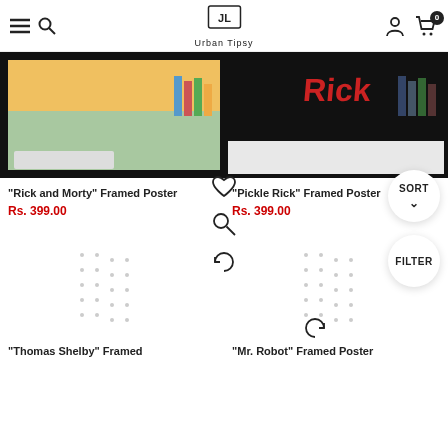Urban Tipsy - Navigation header with menu, search, logo, user and cart icons
[Figure (photo): Framed poster of Rick and Morty cartoon with colorful artwork in a black frame on a desk]
"Rick and Morty" Framed Poster
Rs. 399.00
[Figure (photo): Framed poster with dark background and red text in black frame on a desk]
"Pickle Rick" Framed Poster
Rs. 399.00
[Figure (photo): Loading placeholder for Thomas Shelby framed poster]
"Thomas Shelby" Framed
[Figure (photo): Loading placeholder for Mr. Robot framed poster]
"Mr. Robot" Framed Poster